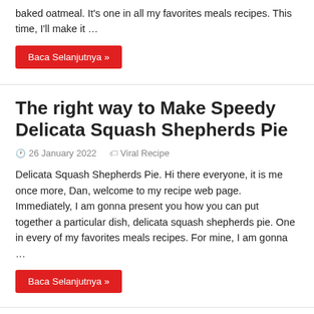baked oatmeal. It's one in all my favorites meals recipes. This time, I'll make it …
Baca Selanjutnya »
The right way to Make Speedy Delicata Squash Shepherds Pie
26 January 2022   Viral Recipe
Delicata Squash Shepherds Pie. Hi there everyone, it is me once more, Dan, welcome to my recipe web page. Immediately, I am gonna present you how you can put together a particular dish, delicata squash shepherds pie. One in every of my favorites meals recipes. For mine, I am gonna …
Baca Selanjutnya »
Steps to Make Final PA Dutch Corn Pie
26 January 2022   Viral Recipe